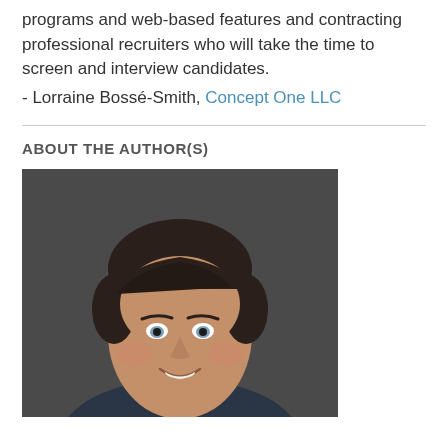programs and web-based features and contracting professional recruiters who will take the time to screen and interview candidates.
- Lorraine Bossé-Smith, Concept One LLC
ABOUT THE AUTHOR(S)
[Figure (photo): Professional headshot of a man with dark hair, smiling, against a dark gray background]